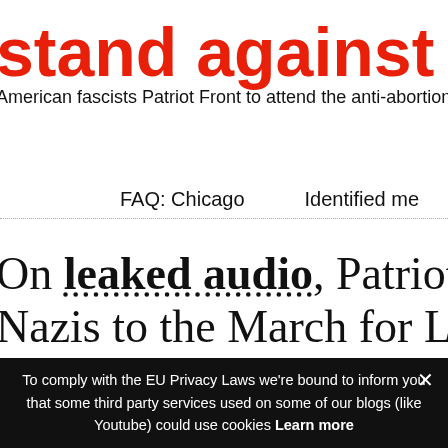stand against the w
American fascists Patriot Front to attend the anti-abortion March
FAQ: Chicago    Identified me
On leaked audio, Patriot Front's le Nazis to the March for Life rally. S against fascists January 8 & Januar
To comply with the EU Privacy Laws we're bound to inform you that some third party services used on some of our blogs (like Youtube) could use cookies Learn more